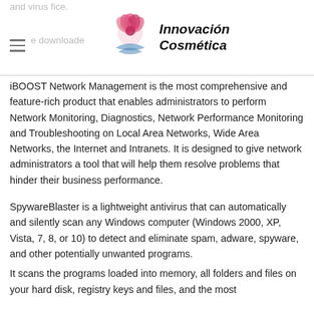Innovación Cosmética
iBOOST Network Management is the most comprehensive and feature-rich product that enables administrators to perform Network Monitoring, Diagnostics, Network Performance Monitoring and Troubleshooting on Local Area Networks, Wide Area Networks, the Internet and Intranets. It is designed to give network administrators a tool that will help them resolve problems that hinder their business performance.
SpywareBlaster is a lightweight antivirus that can automatically and silently scan any Windows computer (Windows 2000, XP, Vista, 7, 8, or 10) to detect and eliminate spam, adware, spyware, and other potentially unwanted programs.
It scans the programs loaded into memory, all folders and files on your hard disk, registry keys and files, and the most...